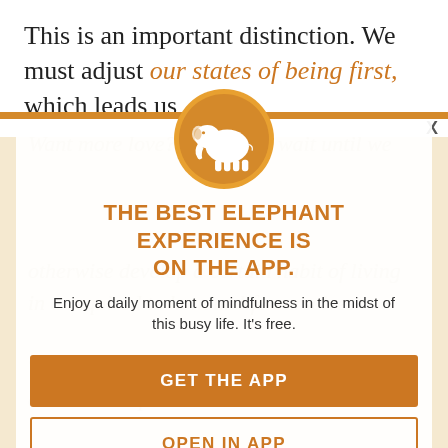This is an important distinction. We must adjust our states of being first, which leads us
[Figure (infographic): App promotion modal with elephant logo icon in an orange circle, heading 'THE BEST ELEPHANT EXPERIENCE IS ON THE APP.', subtext 'Enjoy a daily moment of mindfulness in the midst of this busy life. It's free.', a filled orange 'GET THE APP' button, and an outlined 'OPEN IN APP' button, overlaid on a faded background text.]